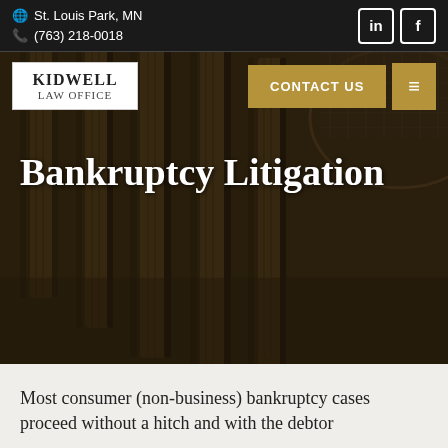St. Louis Park, MN | (763) 218-0018
[Figure (logo): Kidwell Law Office logo — white box with serif text]
CONTACT US
[Figure (photo): Dark background photo of classical courthouse columns at an angle with ornate arched ceiling]
Bankruptcy Litigation
Most consumer (non-business) bankruptcy cases proceed without a hitch and with the debtor